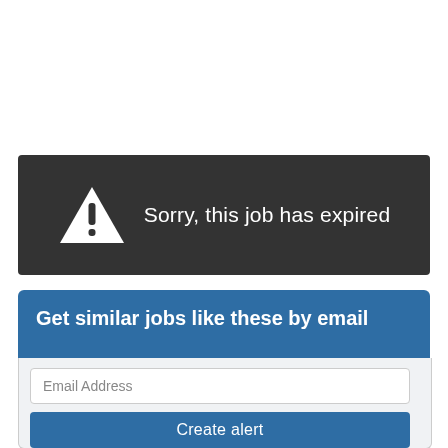[Figure (infographic): Dark grey banner with a white warning triangle icon containing an exclamation mark, and text 'Sorry, this job has expired' in white]
Get similar jobs like these by email
Email Address
Create alert
By submitting your details you agree to our T&C's